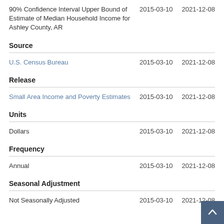90% Confidence Interval Upper Bound of Estimate of Median Household Income for Ashley County, AR    2015-03-10   2021-12-08
Source
U.S. Census Bureau    2015-03-10   2021-12-08
Release
Small Area Income and Poverty Estimates    2015-03-10   2021-12-08
Units
Dollars    2015-03-10   2021-12-08
Frequency
Annual    2015-03-10   2021-12-08
Seasonal Adjustment
Not Seasonally Adjusted    2015-03-10   2021-12-08